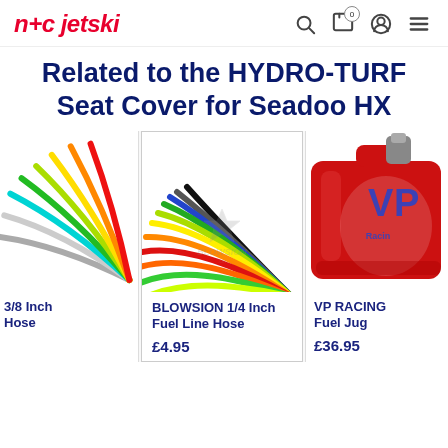n+c jetski
Related to the HYDRO-TURF Seat Cover for Seadoo HX
[Figure (photo): Colorful curved hose fan showing multiple colors - partial view cropped on left]
3/8 Inch Hose
[Figure (photo): BLOWSION 1/4 Inch Fuel Line Hose - fan of colorful fuel hoses in multiple colors with Blowsion watermark]
BLOWSION 1/4 Inch Fuel Line Hose
£4.95
[Figure (photo): VP Racing Fuel Jug - red plastic fuel container with VP Racing logo, partially cropped on right]
VP RACING Fuel Jug
£36.95